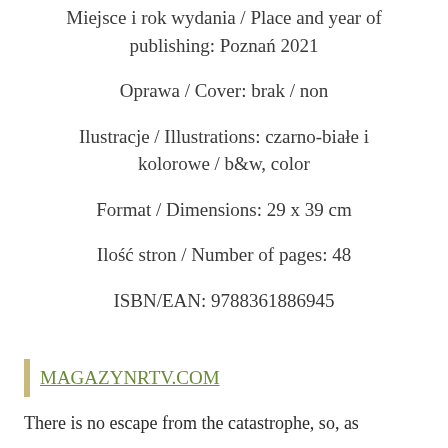Miejsce i rok wydania / Place and year of publishing: Poznań 2021
Oprawa / Cover: brak / non
Ilustracje / Illustrations: czarno-białe i kolorowe / b&w, color
Format / Dimensions: 29 x 39 cm
Ilość stron / Number of pages: 48
ISBN/EAN: 9788361886945
MAGAZYNRTV.COM
There is no escape from the catastrophe, so, as